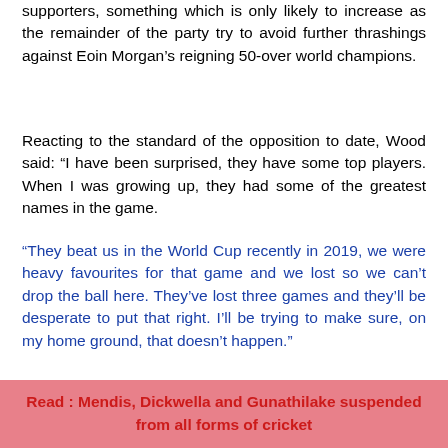supporters, something which is only likely to increase as the remainder of the party try to avoid further thrashings against Eoin Morgan's reigning 50-over world champions.
Reacting to the standard of the opposition to date, Wood said: “I have been surprised, they have some top players. When I was growing up, they had some of the greatest names in the game.
“They beat us in the World Cup recently in 2019, we were heavy favourites for that game and we lost so we can’t drop the ball here. They’ve lost three games and they’ll be desperate to put that right. I’ll be trying to make sure, on my home ground, that doesn’t happen.”
Read : Mendis, Dickwella and Gunathilake suspended from all forms of cricket